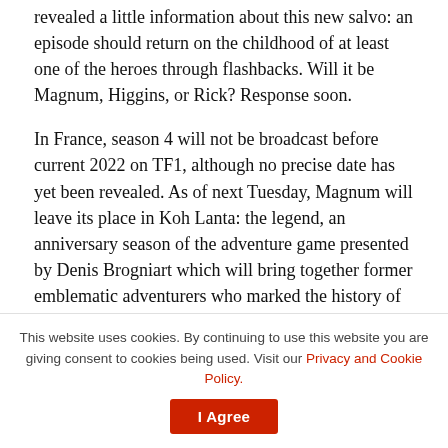revealed a little information about this new salvo: an episode should return on the childhood of at least one of the heroes through flashbacks. Will it be Magnum, Higgins, or Rick? Response soon.
In France, season 4 will not be broadcast before current 2022 on TF1, although no precise date has yet been revealed. As of next Tuesday, Magnum will leave its place in Koh Lanta: the legend, an anniversary season of the adventure game presented by Denis Brogniart which will bring together former emblematic adventurers who marked the history of Koh Lanta.
[Figure (other): Row of social sharing buttons: Facebook (blue), Twitter (light blue), WhatsApp (dark teal), share (medium blue), and more (grey), each with an icon.]
This website uses cookies. By continuing to use this website you are giving consent to cookies being used. Visit our Privacy and Cookie Policy.